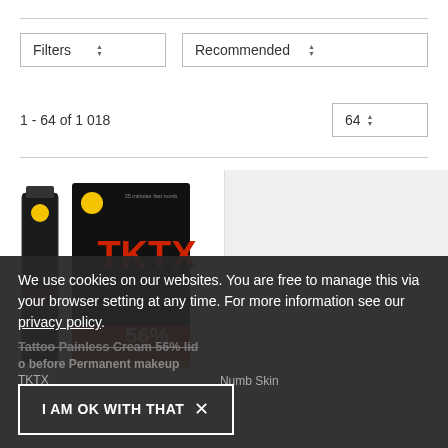Filters   Recommended
1 - 64 of 1 018   64
[Figure (photo): TKTX numbing cream tube and box, black packaging with red TKTX lettering, 56% formula]
[Figure (logo): Fruugo watermark logo on grey background, placeholder product image]
We use cookies on our websites. You are free to manage this via your browser setting at any time. For more information see our privacy policy.
Tattoo Painless Cream 56% lid o before Permanent makeup
TKTX
Original Gold Tattoo Numbing Cream 56%
Numb Skin
I AM OK WITH THAT  ×